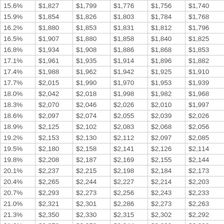| 15.6% | $1,827 | $1,799 | $1,776 | $1,756 | $1,740 |
| 15.9% | $1,854 | $1,826 | $1,803 | $1,784 | $1,768 |
| 16.2% | $1,880 | $1,853 | $1,831 | $1,812 | $1,796 |
| 16.5% | $1,907 | $1,880 | $1,858 | $1,840 | $1,825 |
| 16.8% | $1,934 | $1,908 | $1,886 | $1,868 | $1,853 |
| 17.1% | $1,961 | $1,935 | $1,914 | $1,896 | $1,882 |
| 17.4% | $1,988 | $1,962 | $1,942 | $1,925 | $1,910 |
| 17.7% | $2,015 | $1,990 | $1,970 | $1,953 | $1,939 |
| 18.0% | $2,042 | $2,018 | $1,998 | $1,982 | $1,968 |
| 18.3% | $2,070 | $2,046 | $2,026 | $2,010 | $1,997 |
| 18.6% | $2,097 | $2,074 | $2,055 | $2,039 | $2,026 |
| 18.9% | $2,125 | $2,102 | $2,083 | $2,068 | $2,056 |
| 19.2% | $2,153 | $2,130 | $2,112 | $2,097 | $2,085 |
| 19.5% | $2,180 | $2,158 | $2,141 | $2,126 | $2,114 |
| 19.8% | $2,208 | $2,187 | $2,169 | $2,155 | $2,144 |
| 20.1% | $2,237 | $2,215 | $2,198 | $2,184 | $2,173 |
| 20.4% | $2,265 | $2,244 | $2,227 | $2,214 | $2,203 |
| 20.7% | $2,293 | $2,273 | $2,256 | $2,243 | $2,233 |
| 21.0% | $2,321 | $2,301 | $2,286 | $2,273 | $2,263 |
| 21.3% | $2,350 | $2,330 | $2,315 | $2,302 | $2,292 |
| 21.6% | $2,378 | $2,359 | $2,344 | $2,332 | $2,322 |
| 21.9% | $2,407 | $2,388 | $2,374 | $2,362 | $2,352 |
| 22.2% | $2,436 | $2,418 | $2,403 | $2,392 | $2,382 |
| 22.5% | $2,465 | $2,447 | $2,433 | $2,421 | $2,412 |